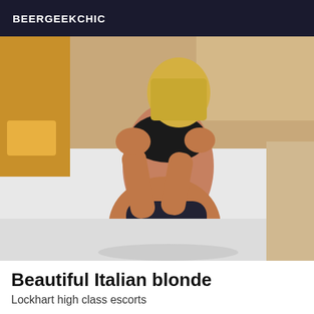BEERGEEKCHIC
[Figure (photo): A person posing on a white bed wearing black lingerie, cropped to not show face]
Beautiful Italian blonde
Lockhart high class escorts